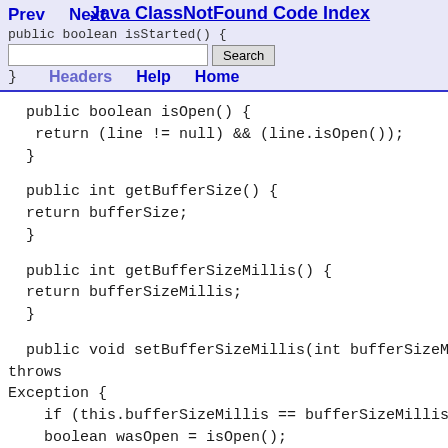Prev   Next   Java ClassNotFound Code Index
public boolean isStarted() {
Search
}   Headers   Help   Home
public boolean isOpen() {
 return (line != null) && (line.isOpen());
}
public int getBufferSize() {
return bufferSize;
}
public int getBufferSizeMillis() {
return bufferSizeMillis;
}
public void setBufferSizeMillis(int bufferSizeMillis) throws
Exception {
    if (this.bufferSizeMillis == bufferSizeMillis) return;
    boolean wasOpen = isOpen();
    boolean wasStarted = isStarted();
    closeLine(true);